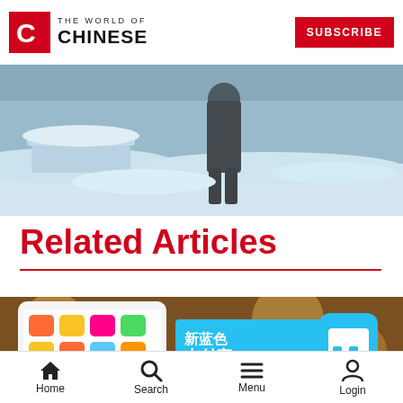THE WORLD OF CHINESE | SUBSCRIBE
[Figure (photo): Snow scene with a person walking in heavy snow, snow-covered benches or furniture visible]
Related Articles
[Figure (photo): Mobile phone showing Alipay app with Chinese text 新蓝色支付宝 商家 and a colorful app grid]
Home  Search  Menu  Login